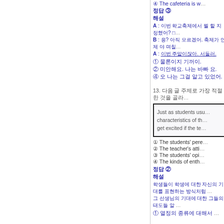④ The cafeteria is w…
정답 ③
해설
A : 이번 학교축제에서 뭘 할 지 정했어? □…
B : 응? 아직 모르겠어. 축제가 언제 야 며칠…
A : 이번 주말이잖아. 서둘러.
① 물론이지 기꺼이.
② 미안해요. 나는 바빠 요.
④ 오 나는 그걸 알고 있었어.
13. 다음 글 주제로 가장 적절한 것을 골라…
[Figure (other): Text box with English passage about students and teachers]
① The students' pere…
② The teacher's atti…
③ The students' opi…
④ The kinds of enth…
정답 ②
해설
학생들이 학생에 대한 자신의 기대를 표현하는 방식처럼…
그 선생님의 기대에 대한 그들의 태도들 알…
① 열정의 종류에 대해서…